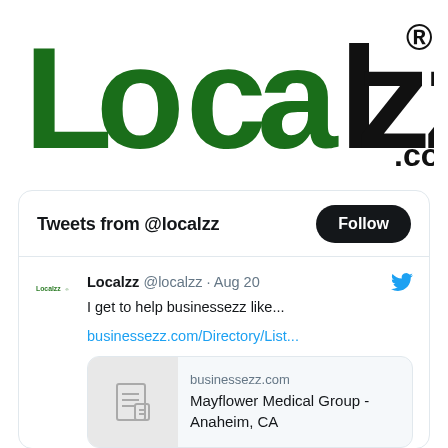[Figure (logo): Localzz.com logo — 'Local' in dark green bold letters, 'zz' in black bold letters, registered trademark symbol, '.com' in black]
[Figure (screenshot): Twitter/X widget showing 'Tweets from @localzz' header with Follow button, and a tweet from Localzz @localzz · Aug 20 reading 'I get to help businessezz like...' with link businessezz.com/Directory/List... and a card preview showing businessezz.com Mayflower Medical Group - Anaheim, CA]